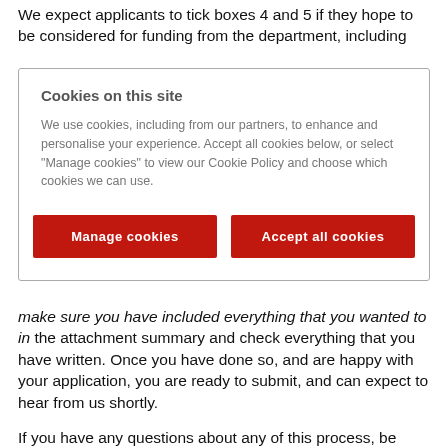We expect applicants to tick boxes 4 and 5 if they hope to be considered for funding from the department, including
[Figure (screenshot): Cookie consent dialog overlay with title 'Cookies on this site', body text explaining cookie use, and two red buttons: 'Manage cookies' and 'Accept all cookies'.]
make sure you have included everything that you wanted to in the attachment summary and check everything that you have written. Once you have done so, and are happy with your application, you are ready to submit, and can expect to hear from us shortly.

If you have any questions about any of this process, be sure to submit them to Gage Kumar Rull, PGR Programme Officer at pgr-mathematics@kcl.ac.uk.